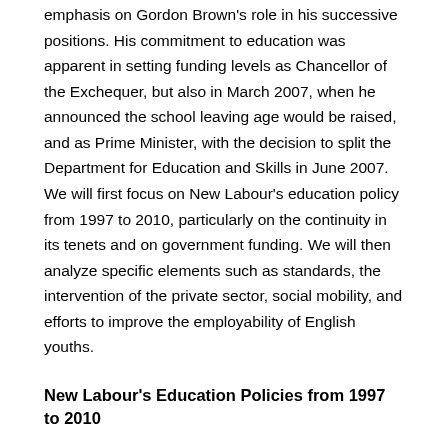emphasis on Gordon Brown's role in his successive positions. His commitment to education was apparent in setting funding levels as Chancellor of the Exchequer, but also in March 2007, when he announced the school leaving age would be raised, and as Prime Minister, with the decision to split the Department for Education and Skills in June 2007. We will first focus on New Labour's education policy from 1997 to 2010, particularly on the continuity in its tenets and on government funding. We will then analyze specific elements such as standards, the intervention of the private sector, social mobility, and efforts to improve the employability of English youths.
New Labour's Education Policies from 1997 to 2010
Everyone will remember the famous New Labour slogan “Education, education, education.” When he became Prime